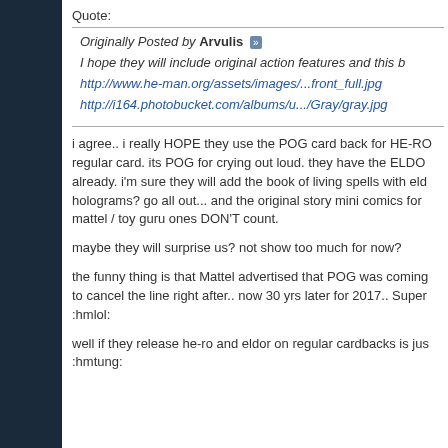Quote:
Originally Posted by Arvulis
I hope they will include original action features and this b
http://www.he-man.org/assets/images/...front_full.jpg
http://i164.photobucket.com/albums/u.../Gray/gray.jpg
i agree.. i really HOPE they use the POG card back for HE-RO regular card. its POG for crying out loud. they have the ELDO already. i'm sure they will add the book of living spells with eld holograms? go all out... and the original story mini comics for mattel / toy guru ones DON'T count.
maybe they will surprise us? not show too much for now?
the funny thing is that Mattel advertised that POG was coming to cancel the line right after.. now 30 yrs later for 2017.. Super :hmlol:
well if they release he-ro and eldor on regular cardbacks is jus :hmtung: